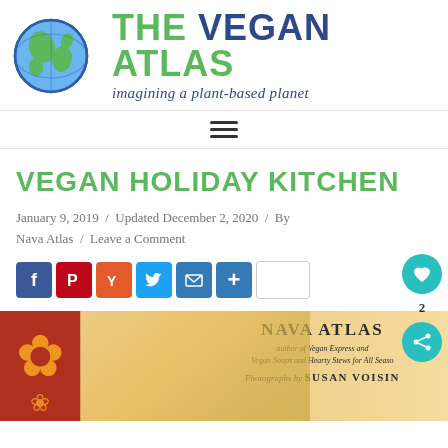[Figure (logo): The Vegan Atlas logo with globe illustration and site title 'THE VEGAN ATLAS' with tagline 'imagining a plant-based planet']
[Figure (other): Hamburger navigation menu icon (three horizontal lines)]
VEGAN HOLIDAY KITCHEN
January 9, 2019 / Updated December 2, 2020 / By Nava Atlas / Leave a Comment
[Figure (other): Social sharing buttons: Facebook (f), Pinterest (P), Yummly (Y), Twitter (bird), Email (envelope), More (+), and a share count box]
[Figure (photo): Book cover for Vegan Holiday Kitchen by Nava Atlas, author of Vegan Express and Vegan Soups and Hearty Stews for All Seasons, Photographs by Susan Voisin]